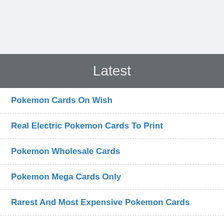Latest
Pokemon Cards On Wish
Real Electric Pokemon Cards To Print
Pokemon Wholesale Cards
Pokemon Mega Cards Only
Rarest And Most Expensive Pokemon Cards
Where Are Pokemon Cards Printed
Sun And Moon Fighting Pokemon Cards Crabominable
Hot Soul Pokemon Cards